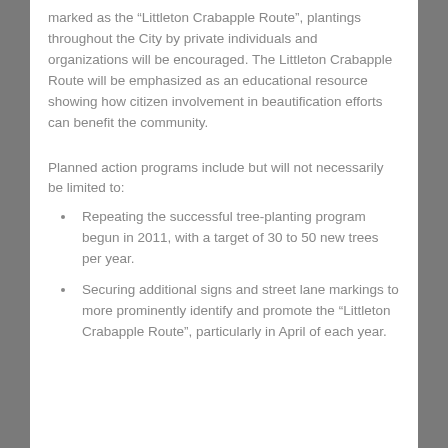marked as the “Littleton Crabapple Route”, plantings throughout the City by private individuals and organizations will be encouraged. The Littleton Crabapple Route will be emphasized as an educational resource showing how citizen involvement in beautification efforts can benefit the community.
Planned action programs include but will not necessarily be limited to:
Repeating the successful tree-planting program begun in 2011, with a target of 30 to 50 new trees per year.
Securing additional signs and street lane markings to more prominently identify and promote the “Littleton Crabapple Route”, particularly in April of each year.